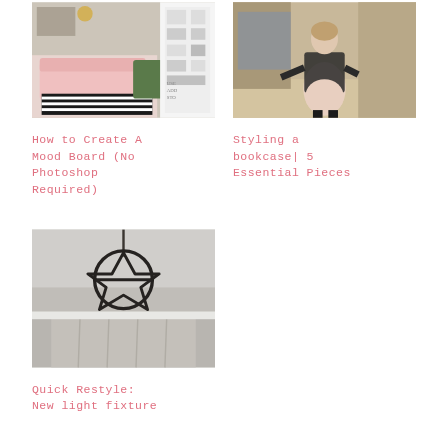[Figure (photo): Mood board collage showing a pink sofa, green chair, striped rug, and design app interface on the right side]
[Figure (photo): Woman in black jacket and pink dress standing in a retail store with clothing racks and shelves]
How to Create A Mood Board (No Photoshop Required)
Styling a bookcase| 5 Essential Pieces
[Figure (photo): Close-up of a black geometric star/pentagon-shaped pendant light fixture hanging from a ceiling]
Quick Restyle: New light fixture